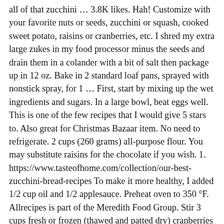all of that zucchini … 3.8K likes. Hah! Customize with your favorite nuts or seeds, zucchini or squash, cooked sweet potato, raisins or cranberries, etc. I shred my extra large zukes in my food processor minus the seeds and drain them in a colander with a bit of salt then package up in 12 oz. Bake in 2 standard loaf pans, sprayed with nonstick spray, for 1 … First, start by mixing up the wet ingredients and sugars. In a large bowl, beat eggs well. This is one of the few recipes that I would give 5 stars to. Also great for Christmas Bazaar item. No need to refrigerate. 2 cups (260 grams) all-purpose flour. You may substitute raisins for the chocolate if you wish. 1. https://www.tasteofhome.com/collection/our-best-zucchini-bread-recipes To make it more healthy, I added 1/2 cup oil and 1/2 applesauce. Preheat oven to 350 °F. Allrecipes is part of the Meredith Food Group. Stir 3 cups fresh or frozen (thawed and patted dry) cranberries into batter. Note: Our third editor, Julie, was absent for the conversation but wants you to know she's also all about zucchini bread. I tried finding a recipe to get my picky toddler to eat her vegetables. People love them. The water adds to the moistness of the bread. Moist and delicious muffins that are great for breakfast or snacks. Stir in zucchini and nuts until well combined. Add sifted ingredients to the creamed mixture, and beat well. Add oil, brown sugar, zucchini, and vanilla; stir well. Dishes & Beverages. Learn how to cook great Pioneer woman zucchini bread . Fold the zucchini and … It won't be green, trust me. I changed it some so my daughter would eat it. Beat eggs, oil,